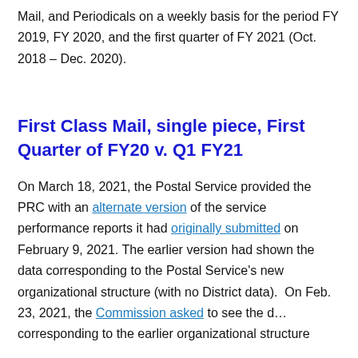Mail, and Periodicals on a weekly basis for the period FY 2019, FY 2020, and the first quarter of FY 2021 (Oct. 2018 – Dec. 2020).
First Class Mail, single piece, First Quarter of FY20 v. Q1 FY21
On March 18, 2021, the Postal Service provided the PRC with an alternate version of the service performance reports it had originally submitted on February 9, 2021. The earlier version had shown the data corresponding to the Postal Service's new organizational structure (with no District data).  On Feb. 23, 2021, the Commission asked to see the data corresponding to the earlier organizational structure